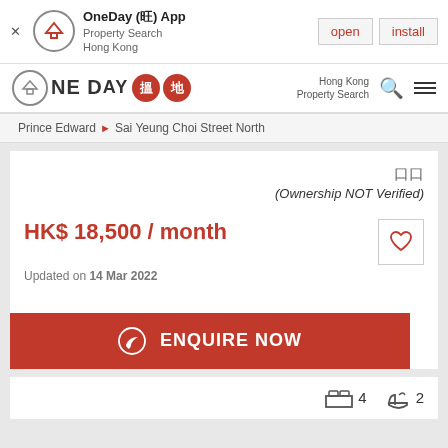[Figure (screenshot): App install banner for OneDay (旺) App - Property Search Hong Kong, with open and install buttons]
[Figure (logo): OneDay 搵地 logo with house icon, Hong Kong Property Search, search icon and menu icon]
Prince Edward > Sai Yeung Choi Street North
口口 (Ownership NOT Verified)
HK$ 18,500 / month
Updated on 14 Mar 2022
ENQUIRE NOW
[Figure (infographic): Property icons showing 4 bedrooms and 2 bathrooms]